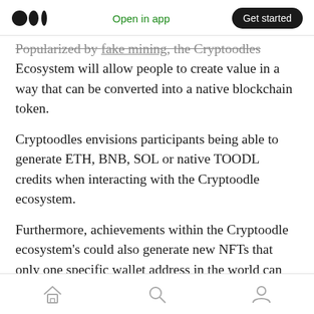Medium logo | Open in app | Get started
Popularized by [link], the Cryptoodles Ecosystem will allow people to create value in a way that can be converted into a native blockchain token.
Cryptoodles envisions participants being able to generate ETH, BNB, SOL or native TOODL credits when interacting with the Cryptoodle ecosystem.
Furthermore, achievements within the Cryptoodle ecosystem's could also generate new NFTs that only one specific wallet address in the world can ever create.
Home | Search | Profile